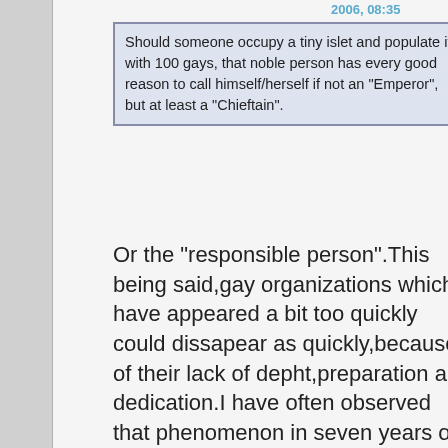2006, 08:35
Should someone occupy a tiny islet and populate it with 100 gays, that noble person has every good reason to call himself/herself if not an "Emperor", but at least a "Chieftain".
Or the "responsible person".This being said,gay organizations which have appeared a bit too quickly could dissapear as quickly,because of their lack of depht,preparation and dedication.I have often observed that phenomenon in seven years of participation in micropolitical forums,where organizations continuously enter and leave the stage.Most gay separatists groups will follow a similar path,untill one emerges which will display some measure of continuity.Separatism is not exactly like a hobby in which